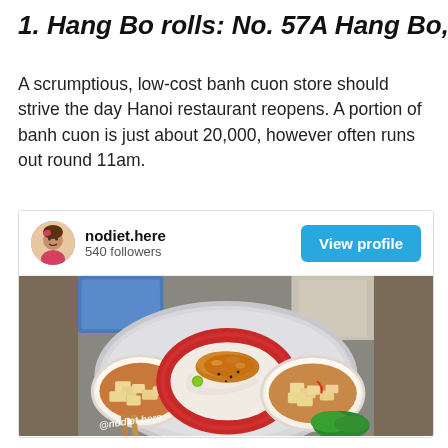1. Hang Bo rolls: No. 57A Hang Bo, Hanoi Hà
A scrumptious, low-cost banh cuon store should strive the day Hanoi restaurant reopens. A portion of banh cuon is just about 20,000, however often runs out round 11am.
[Figure (screenshot): Instagram profile card for nodiet.here (540 followers) with a View profile button, followed by a food photo showing banh cuon (Vietnamese steamed rice rolls) on a red plate with two bowls of soup containing tofu, all on a large silver tray. Watermark @nodiet.here visible.]